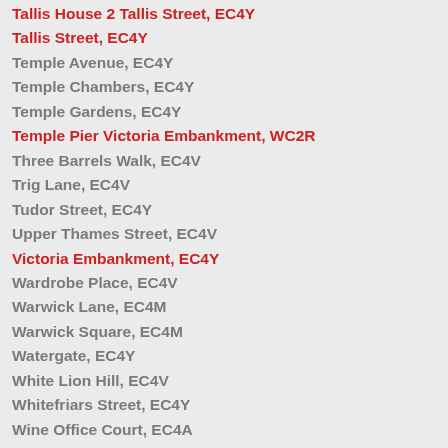Tallis House 2 Tallis Street, EC4Y
Tallis Street, EC4Y
Temple Avenue, EC4Y
Temple Chambers, EC4Y
Temple Gardens, EC4Y
Temple Pier Victoria Embankment, WC2R
Three Barrels Walk, EC4V
Trig Lane, EC4V
Tudor Street, EC4Y
Upper Thames Street, EC4V
Victoria Embankment, EC4Y
Wardrobe Place, EC4V
Warwick Lane, EC4M
Warwick Square, EC4M
Watergate, EC4Y
White Lion Hill, EC4V
Whitefriars Street, EC4Y
Wine Office Court, EC4A